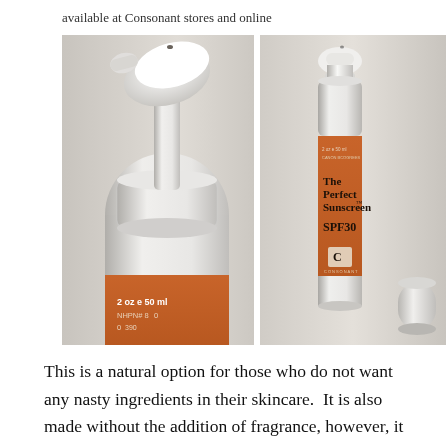available at Consonant stores and online
[Figure (photo): Two photos side by side of Consonant 'The Perfect Sunscreen SPF30' product. Left photo is a close-up of the white pump dispenser top of the bottle showing the orange label with '2 oz e 50 ml NHPN...' text. Right photo shows the full bottle with white pump top, orange label reading 'The Perfect Sunscreen SPF30' and Consonant logo, with cap beside it.]
This is a natural option for those who do not want any nasty ingredients in their skincare.  It is also made without the addition of fragrance, however, it